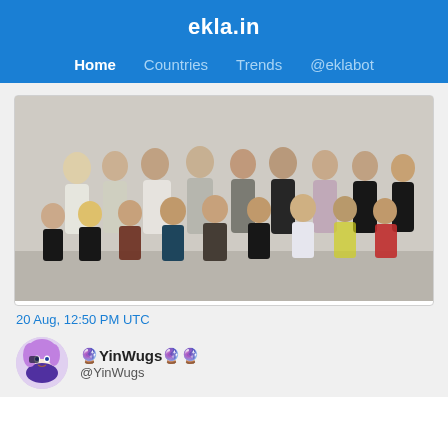ekla.in
Home  Countries  Trends  @eklabot
[Figure (photo): Group photo of approximately 15 people posing together against a light-colored wall, some standing in back row and others crouching or sitting in front, wearing various colorful outfits]
20 Aug, 12:50 PM UTC
🔮YinWugs🔮🔮
@YinWugs